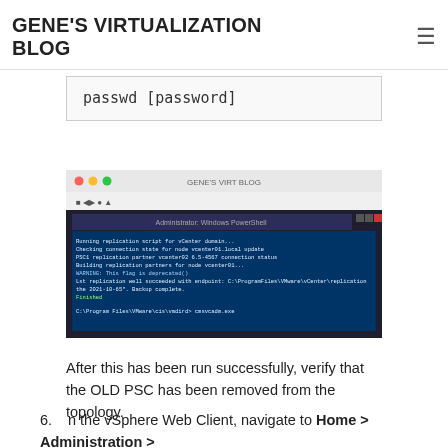GENE'S VIRTUALIZATION BLOG
passwd [password]
[Figure (screenshot): Screenshot of a Windows PowerShell window showing command output with blue terminal background and white text, displayed inside a macOS-style window with red/yellow/green traffic light buttons.]
After this has been run successfully, verify that the OLD PSC has been removed from the topology.
6. n the vSphere Web Client, navigate to Home > Administration > Deployment > System